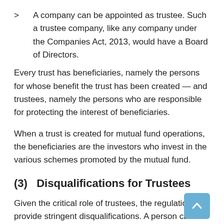> A company can be appointed as trustee. Such a trustee company, like any company under the Companies Act, 2013, would have a Board of Directors.
Every trust has beneficiaries, namely the persons for whose benefit the trust has been created — and trustees, namely the persons who are responsible for protecting the interest of beneficiaries.
When a trust is created for mutual fund operations, the beneficiaries are the investors who invest in the various schemes promoted by the mutual fund.
(3)   Disqualifications for Trustees
Given the critical role of trustees, the regulations provide stringent disqualifications. A person cannot be appointed